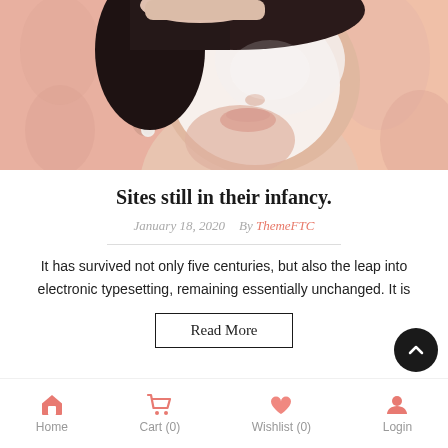[Figure (photo): Woman lying down receiving a facial skincare treatment, face covered in white cream mask, wearing a pearl earring, peach/pink floral background fabric]
Sites still in their infancy.
January 18, 2020   By ThemeFTC
It has survived not only five centuries, but also the leap into electronic typesetting, remaining essentially unchanged. It is
Read More
Home   Cart (0)   Wishlist (0)   Login